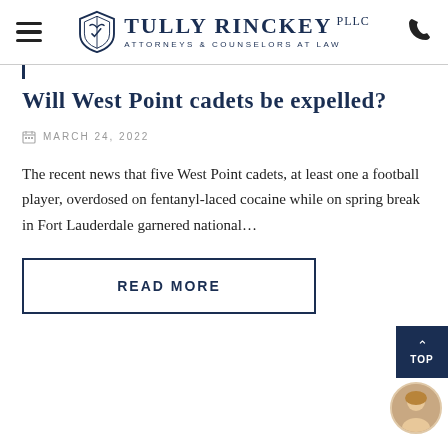Tully Rinckey PLLC — Attorneys & Counselors at Law
Will West Point cadets be expelled?
MARCH 24, 2022
The recent news that five West Point cadets, at least one a football player, overdosed on fentanyl-laced cocaine while on spring break in Fort Lauderdale garnered national…
READ MORE